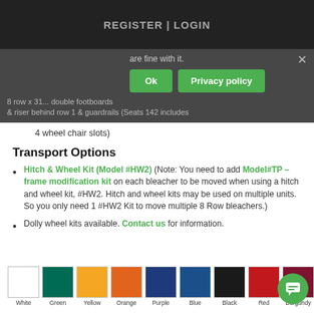REGISTER | LOGIN
are fine with it.
4 wheel chair slots)
8 row x 31... double footboards & riser behind row 1 & guardrails (Seats 142 includes 4 wheel chair slots)
Transport Options
Hitch & Wheel Kit (Model #HW2) (Note: You need to add Model#TP – frame modification kit on each bleacher to be moved when using a hitch and wheel kit, #HW2. Hitch and wheel kits may be used on multiple units. So you only need 1 #HW2 Kit to move multiple 8 Row bleachers.)
Dolly wheel kits available. Contact us for information.
[Figure (other): Color swatches showing White, Green, Yellow, Orange, Purple, Blue, Black, Red, Burgundy]